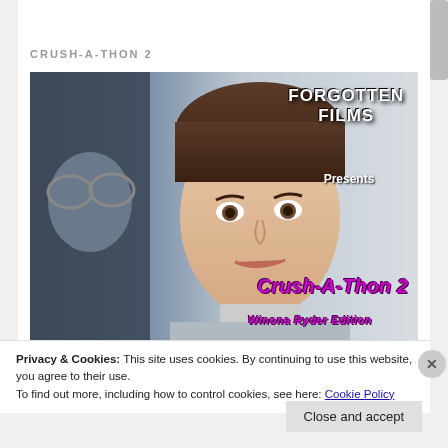CRUSH-A-THON 2
[Figure (photo): Movie cover image for 'Crush-A-Thon 2 Winona Ryder Edition' by Forgotten Films. Shows a close-up of a young woman with short dark hair and a man with glasses partially visible on the left. Text overlaid: 'FORGOTTEN FILMS Presents' in white at top right, 'Crush-A-Thon 2' and 'Winona Ryder Edition' in purple at bottom right.]
Privacy & Cookies: This site uses cookies. By continuing to use this website, you agree to their use.
To find out more, including how to control cookies, see here: Cookie Policy
Close and accept